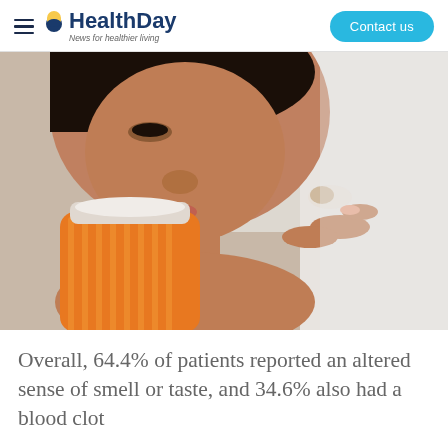HealthDay — News for healthier living | Contact us
[Figure (photo): Close-up photo of a woman with dark skin looking down and examining a small capsule/pill held between her fingers, with an orange prescription pill bottle in the foreground]
Overall, 64.4% of patients reported an altered sense of smell or taste, and 34.6% also had a blood clot...